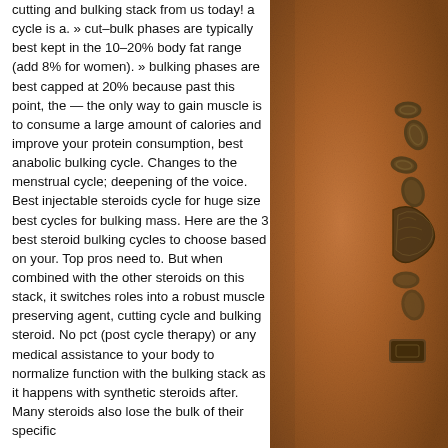cutting and bulking stack from us today! a cycle is a. » cut–bulk phases are typically best kept in the 10–20% body fat range (add 8% for women). » bulking phases are best capped at 20% because past this point, the — the only way to gain muscle is to consume a large amount of calories and improve your protein consumption, best anabolic bulking cycle. Changes to the menstrual cycle; deepening of the voice. Best injectable steroids cycle for huge size best cycles for bulking mass. Here are the 3 best steroid bulking cycles to choose based on your. Top pros need to. But when combined with the other steroids on this stack, it switches roles into a robust muscle preserving agent, cutting cycle and bulking steroid. No pct (post cycle therapy) or any medical assistance to your body to normalize function with the bulking stack as it happens with synthetic steroids after. Many steroids also lose the bulk of their specific
[Figure (photo): Close-up photo of reddish-brown sand or spice with a dark metallic ornamental chain or key object partially visible on the right side.]